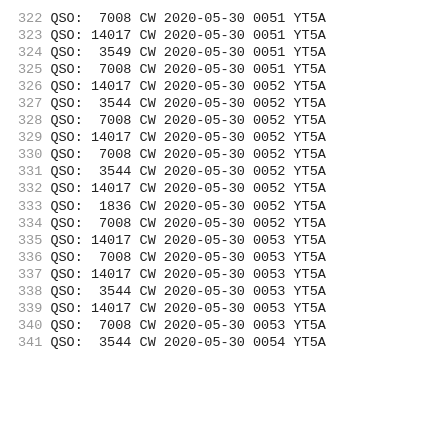322 QSO:  7008 CW 2020-05-30 0051 YT5A
323 QSO: 14017 CW 2020-05-30 0051 YT5A
324 QSO:  3549 CW 2020-05-30 0051 YT5A
325 QSO:  7008 CW 2020-05-30 0051 YT5A
326 QSO: 14017 CW 2020-05-30 0052 YT5A
327 QSO:  3544 CW 2020-05-30 0052 YT5A
328 QSO:  7008 CW 2020-05-30 0052 YT5A
329 QSO: 14017 CW 2020-05-30 0052 YT5A
330 QSO:  7008 CW 2020-05-30 0052 YT5A
331 QSO:  3544 CW 2020-05-30 0052 YT5A
332 QSO: 14017 CW 2020-05-30 0052 YT5A
333 QSO:  1836 CW 2020-05-30 0052 YT5A
334 QSO:  7008 CW 2020-05-30 0052 YT5A
335 QSO: 14017 CW 2020-05-30 0053 YT5A
336 QSO:  7008 CW 2020-05-30 0053 YT5A
337 QSO: 14017 CW 2020-05-30 0053 YT5A
338 QSO:  3544 CW 2020-05-30 0053 YT5A
339 QSO: 14017 CW 2020-05-30 0053 YT5A
340 QSO:  7008 CW 2020-05-30 0053 YT5A
341 QSO:  3544 CW 2020-05-30 0054 YT5A